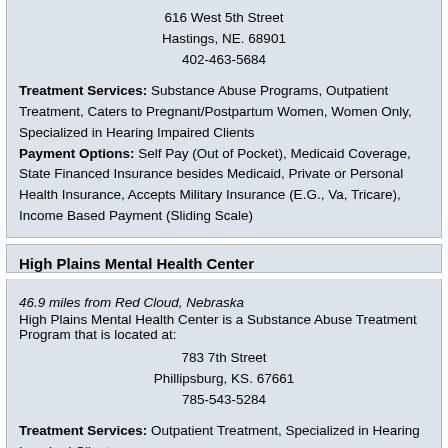616 West 5th Street
Hastings, NE. 68901
402-463-5684
Treatment Services: Substance Abuse Programs, Outpatient Treatment, Caters to Pregnant/Postpartum Women, Women Only, Specialized in Hearing Impaired Clients
Payment Options: Self Pay (Out of Pocket), Medicaid Coverage, State Financed Insurance besides Medicaid, Private or Personal Health Insurance, Accepts Military Insurance (E.G., Va, Tricare), Income Based Payment (Sliding Scale)
High Plains Mental Health Center
46.9 miles from Red Cloud, Nebraska
High Plains Mental Health Center is a Substance Abuse Treatment Program that is located at:
783 7th Street
Phillipsburg, KS. 67661
785-543-5284
Treatment Services: Outpatient Treatment, Specialized in Hearing Impaired Clients
Payment Options: Self Pay (Out of Pocket), Medicaid Coverage, Medicare Coverage, State Financed Insurance besides Medicaid, Private or Personal Health Insurance, Accepts Military Insurance (E.G., Va, Tricare)